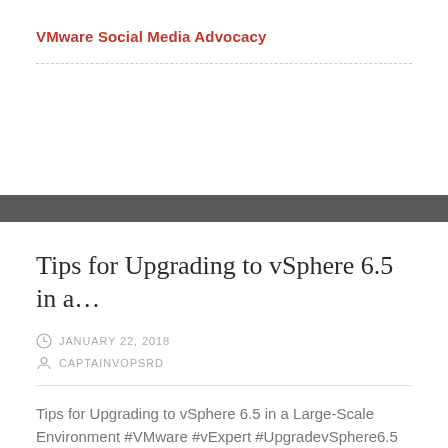VMware Social Media Advocacy
Tips for Upgrading to vSphere 6.5 in a…
JANUARY 22, 2018
CAPTAINVOPSRD
Tips for Upgrading to vSphere 6.5 in a Large-Scale Environment #VMware #vExpert #UpgradevSphere6.5